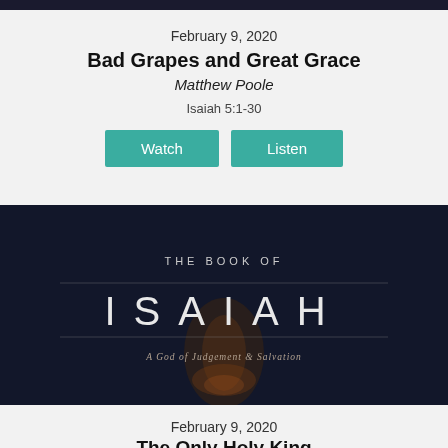[Figure (photo): Dark banner image at top of page]
February 9, 2020
Bad Grapes and Great Grace
Matthew Poole
Isaiah 5:1-30
[Figure (illustration): The Book of Isaiah — A God of Judgement & Salvation dark themed banner image with stylized ISAIAH text and a figure in the background]
February 9, 2020
The Only Holy King
Matt Bishop
Isaiah 6:1-13